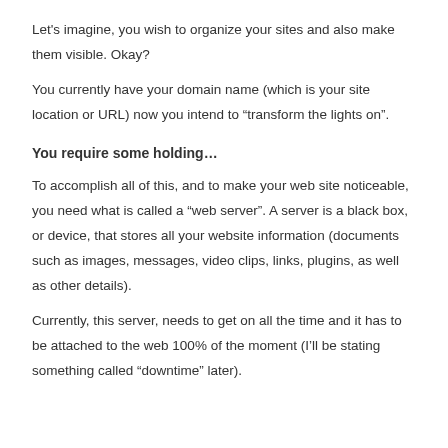Let's imagine, you wish to organize your sites and also make them visible. Okay?
You currently have your domain name (which is your site location or URL) now you intend to “transform the lights on”.
You require some holding…
To accomplish all of this, and to make your web site noticeable, you need what is called a “web server”. A server is a black box, or device, that stores all your website information (documents such as images, messages, video clips, links, plugins, as well as other details).
Currently, this server, needs to get on all the time and it has to be attached to the web 100% of the moment (I’ll be stating something called “downtime” later).